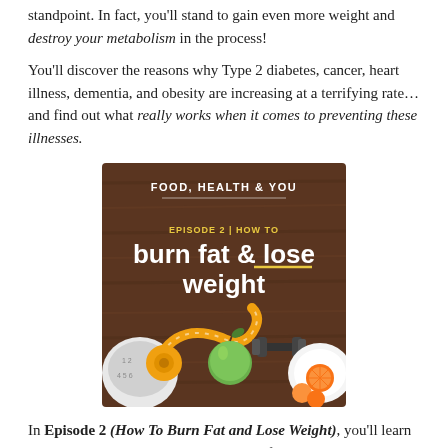standpoint. In fact, you'll stand to gain even more weight and destroy your metabolism in the process!
You'll discover the reasons why Type 2 diabetes, cancer, heart illness, dementia, and obesity are increasing at a terrifying rate… and find out what really works when it comes to preventing these illnesses.
[Figure (photo): Podcast cover image for 'Food, Health & You' - Episode 2: How To Burn Fat & Lose Weight, showing a wooden table with a measuring tape, green apple, dumbbells, a scale, and oranges on a white plate.]
In Episode 2 (How To Burn Fat and Lose Weight), you'll learn why you should stop counting calories if you want to lose weight